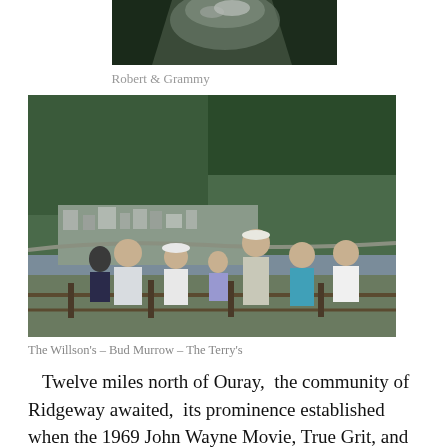[Figure (photo): Partial photo at top of page showing dark trees/mountain landscape, cropped — Robert and Grammy]
Robert & Grammy
[Figure (photo): Group photo of several people standing at a scenic overlook with a mountain town and forested hills in the background — The Willson's, Bud Murrow, The Terry's]
The Willson's – Bud Murrow – The Terry's
Twelve miles north of Ouray,  the community of Ridgeway awaited,  its prominence established when the 1969 John Wayne Movie, True Grit, and the 1962 epic